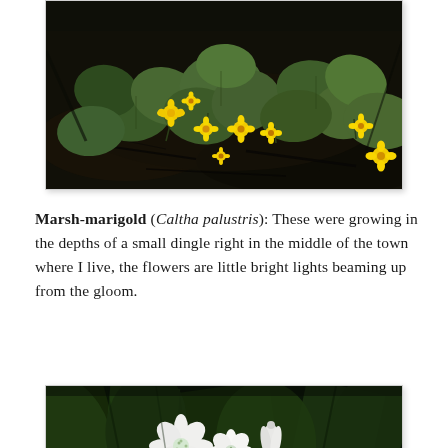[Figure (photo): Photograph of marsh-marigold plants (Caltha palustris) growing in dark, moist soil. The plants have large round green leaves and small bright yellow star-shaped flowers. The background is dark earth and leaf litter.]
Marsh-marigold (Caltha palustris): These were growing in the depths of a small dingle right in the middle of the town where I live, the flowers are little bright lights beaming up from the gloom.
[Figure (photo): Close-up photograph of white star-shaped flowers (possibly wild garlic or snowflake) with dark green strap-like leaves behind them. The background is very dark green and out of focus.]